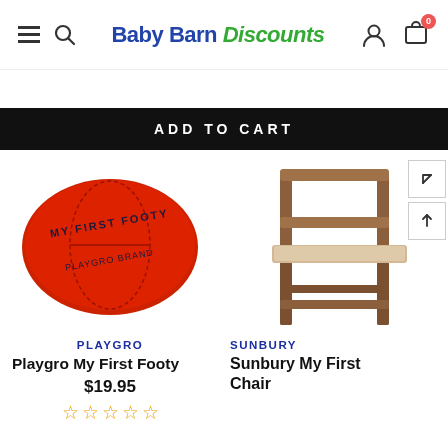[Figure (logo): Baby Barn Discounts logo with hamburger menu and search icon on left, user and cart icons on right]
ADD TO CART
[Figure (photo): Red oval foam Playgro My First Footy ball with text MY FIRST FOOTY and PLAYGRO BRAND printed on it]
[Figure (photo): Sunbury My First Chair — a small wooden children's chair with light wood seat and darker wood legs and frame]
PLAYGRO
Playgro My First Footy
$19.95
SUNBURY
Sunbury My First Chair